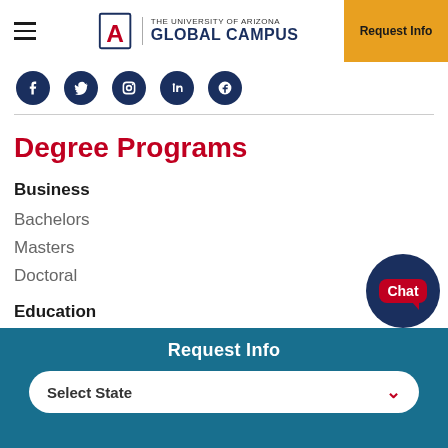THE UNIVERSITY OF ARIZONA GLOBAL CAMPUS | Request Info
[Figure (screenshot): Social media icons strip: Facebook, Twitter, Instagram, LinkedIn, and one more — all circular dark navy blue icons]
Degree Programs
Business
Bachelors
Masters
Doctoral
Education
Bachelors
Masters
Request Info
Select State